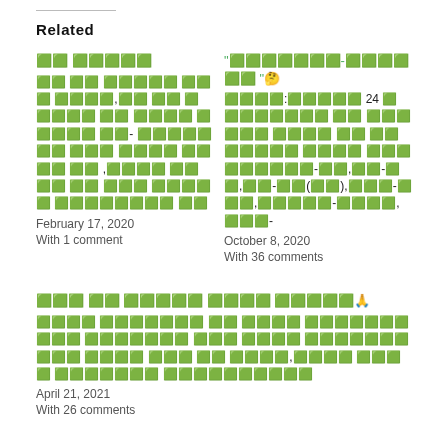Related
🟩🟩 🟩🟩🟩🟩🟩
🟩🟩 🟩🟩 🟩🟩🟩🟩🟩 🟩🟩🟩 🟩🟩🟩🟩,🟩🟩 🟩🟩 🟩🟩🟩🟩🟩 🟩🟩 🟩🟩🟩🟩 🟩🟩🟩🟩🟩 🟩🟩- 🟩🟩🟩🟩🟩🟩🟩 🟩🟩🟩 🟩🟩🟩🟩 🟩🟩 🟩🟩 🟩🟩 ,🟩🟩🟩🟩 🟩🟩🟩🟩 🟩🟩 🟩🟩🟩 🟩🟩🟩🟩🟩 🟩🟩🟩🟩🟩🟩🟩🟩 🟩🟩
February 17, 2020
With 1 comment
"🟩🟩🟩🟩🟩🟩🟩-🟩🟩🟩🟩🟩🟩 "🤔
🟩🟩🟩🟩:🟩🟩🟩🟩🟩 24 🟩🟩🟩🟩🟩🟩🟩🟩 🟩🟩 🟩🟩🟩🟩🟩🟩 🟩🟩🟩🟩 🟩🟩 🟩🟩🟩🟩🟩🟩🟩 🟩🟩🟩🟩 🟩🟩🟩 🟩🟩🟩🟩🟩🟩-🟩🟩,🟩🟩-🟩🟩,🟩🟩-🟩🟩(🟩🟩),🟩🟩🟩-🟩🟩🟩,🟩🟩🟩🟩🟩-🟩🟩🟩🟩,🟩🟩🟩-
October 8, 2020
With 36 comments
🟩🟩🟩 🟩🟩 🟩🟩🟩🟩🟩 🟩🟩🟩🟩 🟩🟩🟩🟩🟩🙏
🟩🟩🟩🟩 🟩🟩🟩🟩🟩🟩🟩 🟩🟩 🟩🟩🟩🟩 🟩🟩🟩🟩🟩🟩🟩🟩🟩🟩 🟩🟩🟩🟩🟩🟩🟩 🟩🟩🟩 🟩🟩🟩🟩 🟩🟩🟩🟩🟩🟩🟩 🟩🟩🟩 🟩🟩🟩🟩 🟩🟩🟩 🟩🟩 🟩🟩🟩🟩,🟩🟩🟩🟩 🟩🟩🟩🟩 🟩🟩🟩🟩🟩🟩🟩 🟩🟩🟩🟩🟩🟩🟩🟩🟩🟩
April 21, 2021
With 26 comments